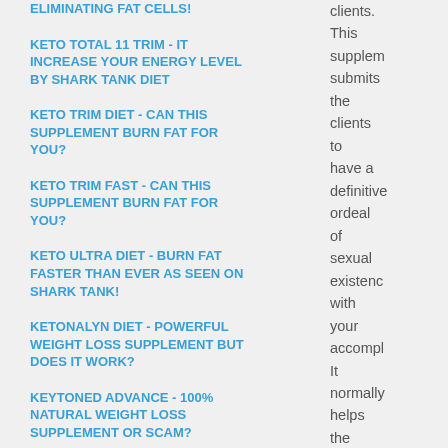ELIMINATING FAT CELLS!
KETO TOTAL 11 TRIM - IT INCREASE YOUR ENERGY LEVEL BY SHARK TANK DIET
KETO TRIM DIET - CAN THIS SUPPLEMENT BURN FAT FOR YOU?
KETO TRIM FAST - CAN THIS SUPPLEMENT BURN FAT FOR YOU?
KETO ULTRA DIET - BURN FAT FASTER THAN EVER AS SEEN ON SHARK TANK!
KETONALYN DIET - POWERFUL WEIGHT LOSS SUPPLEMENT BUT DOES IT WORK?
KEYTONED ADVANCE - 100% NATURAL WEIGHT LOSS SUPPLEMENT OR SCAM?
KINGS GOLD KETO DIET -
clients. This supplem submits the clients to have a definitive ordeal of sexual existenc with your accompl It normally helps the testoste